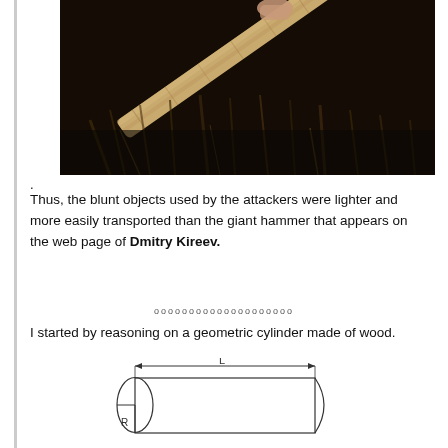[Figure (photo): A person wearing a dark fur coat or suit holding a large wooden log or pole diagonally over their shoulder, photographed against a white background.]
.
Thus, the blunt objects used by the attackers were lighter and more easily transported than the giant hammer that appears on the web page of Dmitry Kireev.
oooooooooooooooooooo
I started by reasoning on a geometric cylinder made of wood.
[Figure (engineering-diagram): A technical diagram of a cylinder viewed from the side, showing length L labeled with a double-headed arrow along the top, and radius R labeled on the left circular end. The cylinder has a rectangular body with rounded ends represented by ellipses.]